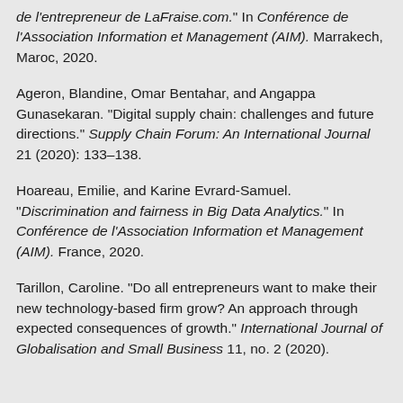de l'entrepreneur de LaFraise.com." In Conférence de l'Association Information et Management (AIM). Marrakech, Maroc, 2020.
Ageron, Blandine, Omar Bentahar, and Angappa Gunasekaran. "Digital supply chain: challenges and future directions." Supply Chain Forum: An International Journal 21 (2020): 133–138.
Hoareau, Emilie, and Karine Evrard-Samuel. "Discrimination and fairness in Big Data Analytics." In Conférence de l'Association Information et Management (AIM). France, 2020.
Tarillon, Caroline. "Do all entrepreneurs want to make their new technology-based firm grow? An approach through expected consequences of growth." International Journal of Globalisation and Small Business 11, no. 2 (2020).